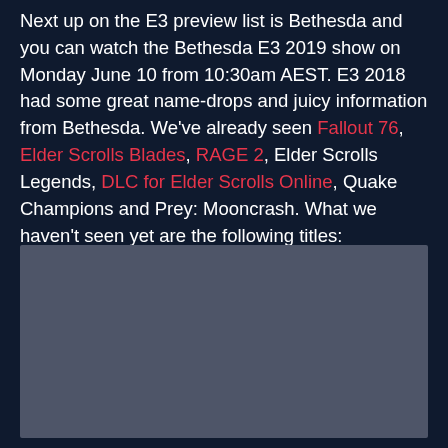Next up on the E3 preview list is Bethesda and you can watch the Bethesda E3 2019 show on Monday June 10 from 10:30am AEST. E3 2018 had some great name-drops and juicy information from Bethesda. We've already seen Fallout 76, Elder Scrolls Blades, RAGE 2, Elder Scrolls Legends, DLC for Elder Scrolls Online, Quake Champions and Prey: Mooncrash. What we haven't seen yet are the following titles:
[Figure (other): A grey placeholder image block with no visible content]